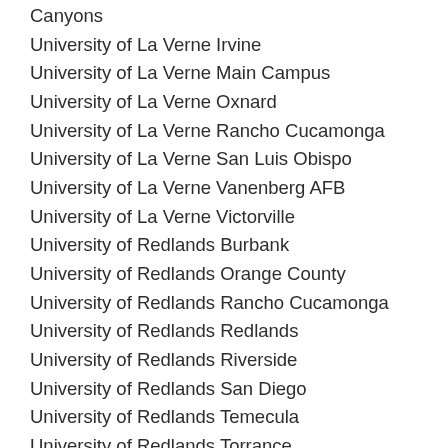Canyons
University of La Verne Irvine
University of La Verne Main Campus
University of La Verne Oxnard
University of La Verne Rancho Cucamonga
University of La Verne San Luis Obispo
University of La Verne Vanenberg AFB
University of La Verne Victorville
University of Redlands Burbank
University of Redlands Orange County
University of Redlands Rancho Cucamonga
University of Redlands Redlands
University of Redlands Riverside
University of Redlands San Diego
University of Redlands Temecula
University of Redlands Torrance